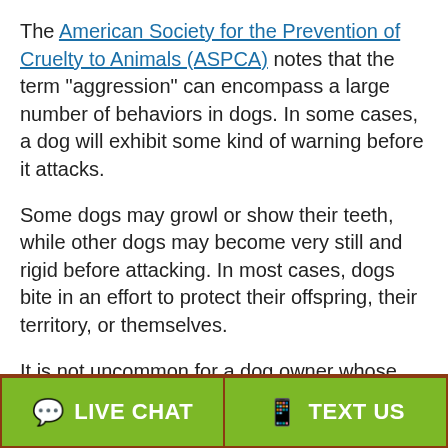The American Society for the Prevention of Cruelty to Animals (ASPCA) notes that the term "aggression" can encompass a large number of behaviors in dogs. In some cases, a dog will exhibit some kind of warning before it attacks.
Some dogs may growl or show their teeth, while other dogs may become very still and rigid before attacking. In most cases, dogs bite in an effort to protect their offspring, their territory, or themselves.
It is not uncommon for a dog owner whose animal bites another person to claim that the dog bite victim provoked the canine. But this may be a misstatement of facts, as many dogs attack without warning and without being
LIVE CHAT | TEXT US